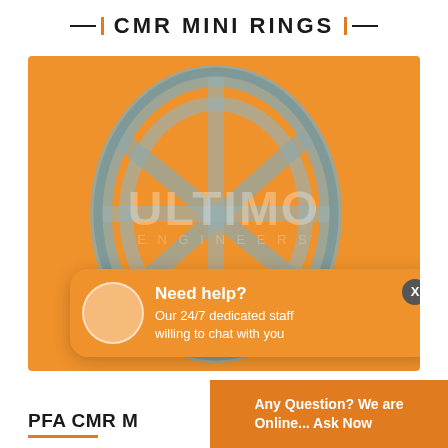CMR MINI RINGS
[Figure (photo): 3D rendered image of a CMR mini ring (Pall ring style) in metallic grey/silver color on an orange background, with Ultimo Engineers watermark]
Need help? Our 24/7 dedicated staff willing to chat with you
PFA CMR M
Any Question? We are Online... Ask Now